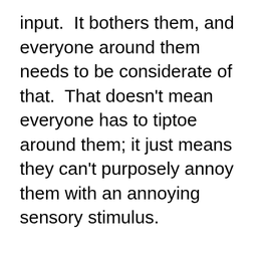input.  It bothers them, and everyone around them needs to be considerate of that.  That doesn't mean everyone has to tiptoe around them; it just means they can't purposely annoy them with an annoying sensory stimulus.